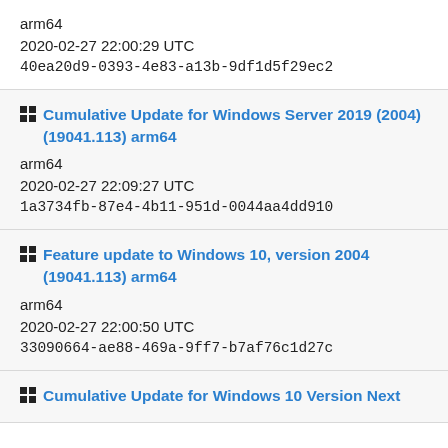arm64
2020-02-27 22:00:29 UTC
40ea20d9-0393-4e83-a13b-9df1d5f29ec2
Cumulative Update for Windows Server 2019 (2004) (19041.113) arm64
arm64
2020-02-27 22:09:27 UTC
1a3734fb-87e4-4b11-951d-0044aa4dd910
Feature update to Windows 10, version 2004 (19041.113) arm64
arm64
2020-02-27 22:00:50 UTC
33090664-ae88-469a-9ff7-b7af76c1d27c
Cumulative Update for Windows 10 Version Next